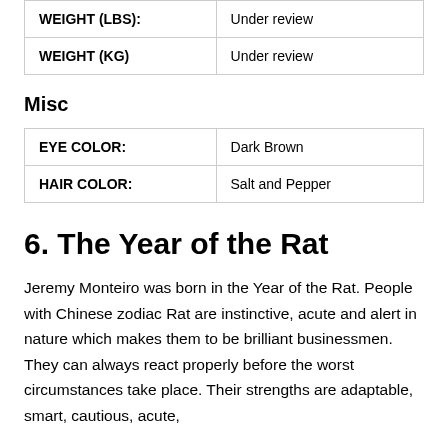| WEIGHT (LBS): | Under review |
| WEIGHT (KG) | Under review |
Misc
| EYE COLOR: | Dark Brown |
| HAIR COLOR: | Salt and Pepper |
6. The Year of the Rat
Jeremy Monteiro was born in the Year of the Rat. People with Chinese zodiac Rat are instinctive, acute and alert in nature which makes them to be brilliant businessmen. They can always react properly before the worst circumstances take place. Their strengths are adaptable, smart, cautious, acute,